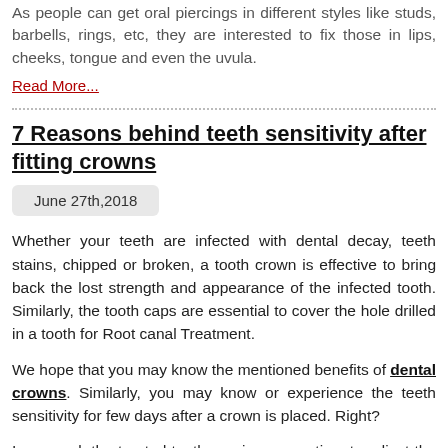As people can get oral piercings in different styles like studs, barbells, rings, etc, they are interested to fix those in lips, cheeks, tongue and even the uvula.
Read More...
7 Reasons behind teeth sensitivity after fitting crowns
June 27th,2018
Whether your teeth are infected with dental decay, teeth stains, chipped or broken, a tooth crown is effective to bring back the lost strength and appearance of the infected tooth. Similarly, the tooth caps are essential to cover the hole drilled in a tooth for Root canal Treatment.
We hope that you may know the mentioned benefits of dental crowns. Similarly, you may know or experience the teeth sensitivity for few days after a crown is placed. Right?
In general, the treated tooth requires some time to adjust the crown (or cap). Until then, the tooth produces some